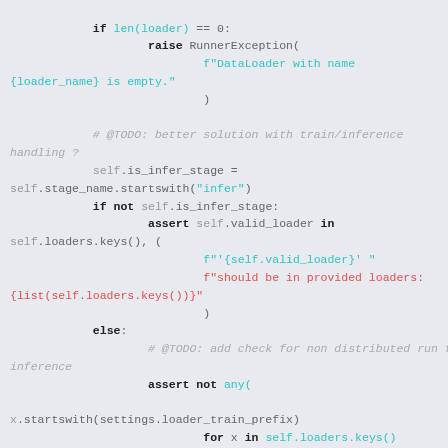Code snippet showing Python loader validation logic with RunnerException, is_infer_stage check, assert valid_loader, and assert not any() for inference loader check.